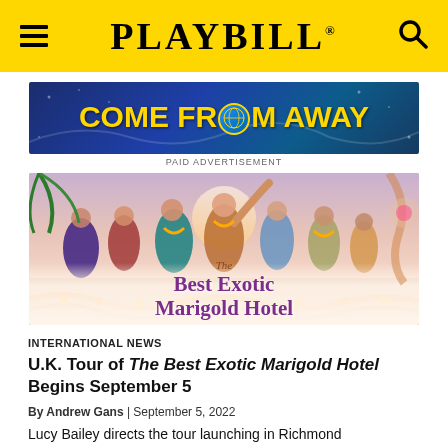PLAYBILL
[Figure (photo): Come From Away advertisement banner with yellow text on dark blue background]
PAID ADVERTISEMENT
[Figure (photo): The Best Exotic Marigold Hotel UK tour promotional image showing cast members with flower garlands against a warm sunset background, with show title text overlay]
INTERNATIONAL NEWS
U.K. Tour of The Best Exotic Marigold Hotel Begins September 5
By Andrew Gans | September 5, 2022
Lucy Bailey directs the tour launching in Richmond